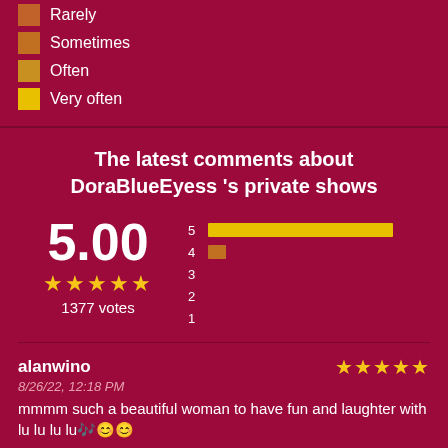Rarely
Sometimes
Often
Very often
The latest comments about DoraBlueEyess 's private shows
[Figure (bar-chart): Rating distribution]
5.00
1377 votes
alanwino
8/26/22, 12:18 PM
mmmm such a beautiful woman to have fun and laughter with lu lu lu lu🎶😊😊
TBM90